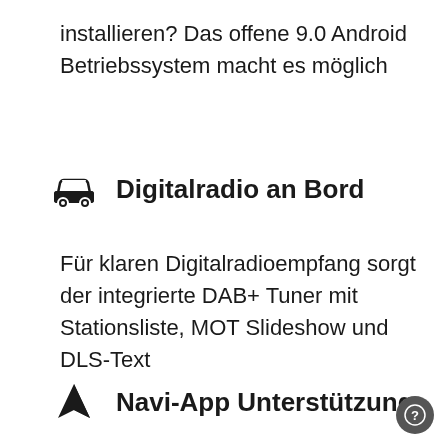installieren? Das offene 9.0 Android Betriebssystem macht es möglich
Digitalradio an Bord
Für klaren Digitalradioempfang sorgt der integrierte DAB+ Tuner mit Stationsliste, MOT Slideshow und DLS-Text
Navi-App Unterstützung